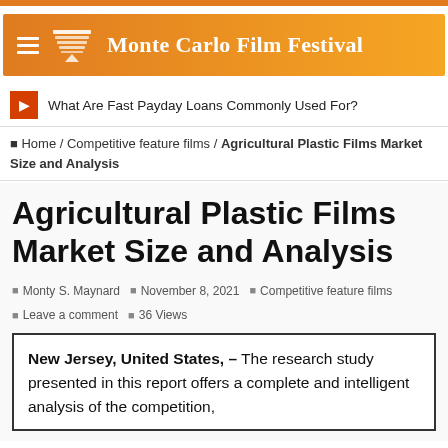Monte Carlo Film Festival
What Are Fast Payday Loans Commonly Used For?
Home / Competitive feature films / Agricultural Plastic Films Market Size and Analysis
Agricultural Plastic Films Market Size and Analysis
Monty S. Maynard   November 8, 2021   Competitive feature films   Leave a comment   36 Views
New Jersey, United States, – The research study presented in this report offers a complete and intelligent analysis of the competition,